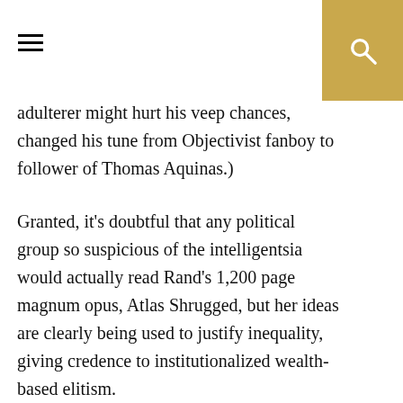[hamburger menu icon] [search icon]
adulterer might hurt his veep chances, changed his tune from Objectivist fanboy to follower of Thomas Aquinas.)
Granted, it’s doubtful that any political group so suspicious of the intelligentsia would actually read Rand’s 1,200 page magnum opus, Atlas Shrugged, but her ideas are clearly being used to justify inequality, giving credence to institutionalized wealth-based elitism.
This has to stop, and stop now. But not just for the reasons that typically get brought up. Anti-Rand commentators have long pointed out both the pragmatic and personal problems with Rand. As evidenced by the Great Recession, for example, anything even remotely close to the unfettered